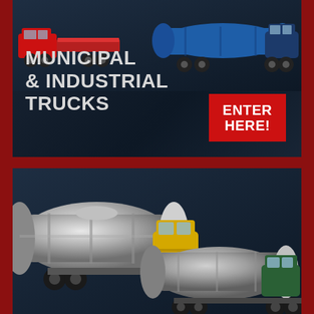[Figure (illustration): Top dark-background card showing multiple municipal/industrial trucks (red flatbed truck, blue tanker truck) arranged across the top, with large white bold text 'MUNICIPAL & INDUSTRIAL TRUCKS' on the lower left and a red 'ENTER HERE!' button on the lower right.]
[Figure (illustration): Bottom dark-background card showing two tanker trucks: a yellow tanker truck with a polished silver tank on the left and a dark green tanker truck with a gray tank on the right.]